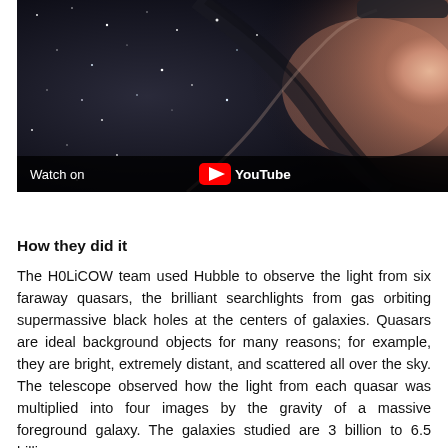[Figure (screenshot): A YouTube video thumbnail showing a Hubble Space Telescope image of galaxies — dark space on the left with stars and galactic structure, and a warm pinkish-brown galactic region on the right. A 'Watch on YouTube' bar with the YouTube play button icon is overlaid at the bottom of the video.]
How they did it
The H0LiCOW team used Hubble to observe the light from six faraway quasars, the brilliant searchlights from gas orbiting supermassive black holes at the centers of galaxies. Quasars are ideal background objects for many reasons; for example, they are bright, extremely distant, and scattered all over the sky. The telescope observed how the light from each quasar was multiplied into four images by the gravity of a massive foreground galaxy. The galaxies studied are 3 billion to 6.5 billion